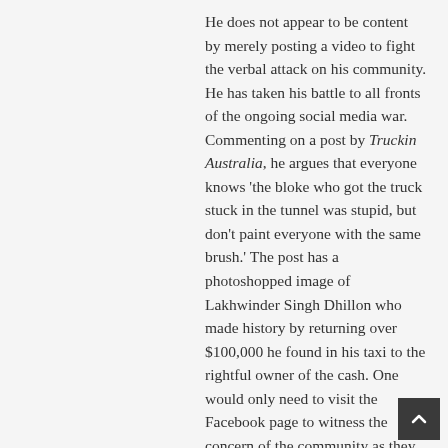He does not appear to be content by merely posting a video to fight the verbal attack on his community. He has taken his battle to all fronts of the ongoing social media war. Commenting on a post by Truckin Australia, he argues that everyone knows 'the bloke who got the truck stuck in the tunnel was stupid, but don't paint everyone with the same brush.' The post has a photoshopped image of Lakhwinder Singh Dhillon who made history by returning over $100,000 he found in his taxi to the rightful owner of the cash. One would only need to visit the Facebook page to witness the concern of the community as they vehemently respond to the photoshopped images of Sikh or Indian men.

"The pics used by them promote hatred, racism and bigotry," Amar Singh told